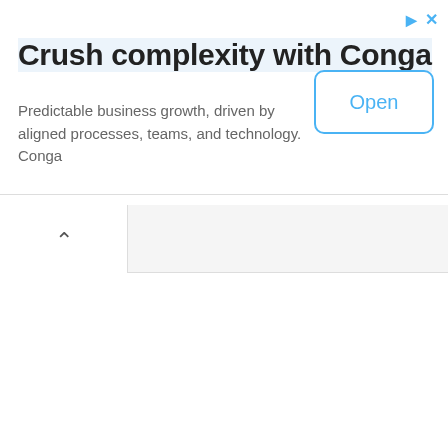Crush complexity with Conga
Predictable business growth, driven by aligned processes, teams, and technology. Conga
[Figure (screenshot): Open button with blue border and blue text on white background]
[Figure (screenshot): Tab bar with active white tab showing upward chevron arrow, rest of tab bar is light gray]